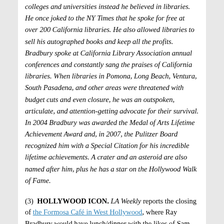colleges and universities instead he believed in libraries. He once joked to the NY Times that he spoke for free at over 200 California libraries. He also allowed libraries to sell his autographed books and keep all the profits. Bradbury spoke at California Library Association annual conferences and constantly sang the praises of California libraries. When libraries in Pomona, Long Beach, Ventura, South Pasadena, and other areas were threatened with budget cuts and even closure, he was an outspoken, articulate, and attention-getting advocate for their survival. In 2004 Bradbury was awarded the Medal of Arts Lifetime Achievement Award and, in 2007, the Pulitzer Board recognized him with a Special Citation for his incredible lifetime achievements. A crater and an asteroid are also named after him, plus he has a star on the Hollywood Walk of Fame.
(3) HOLLYWOOD ICON. LA Weekly reports the closing of the Formosa Café in West Hollywood, where Ray Bradbury would have lunch/dinner with the likes of Sam Peckinpah and John Huston.
Its neighbor was the Mary Pickford– and Douglas Fairbanks–